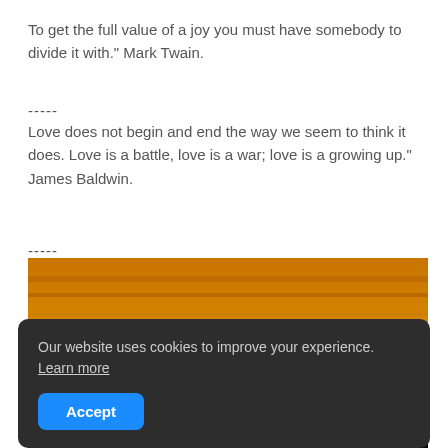To get the full value of a joy you must have somebody to divide it with." Mark Twain.
-----
Love does not begin and end the way we seem to think it does. Love is a battle, love is a war; love is a growing up." James Baldwin.
-----
[Figure (photo): Sunset scene with orange sky and clouds, sun partially visible behind cloud bank, silhouette of landscape at bottom]
Our website uses cookies to improve your experience. Learn more
Accept